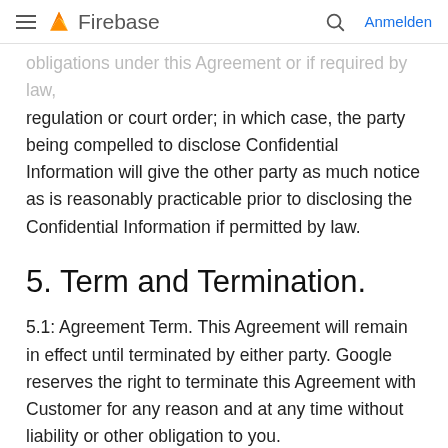Firebase
obligations under this Agreement or if required by law, regulation or court order; in which case, the party being compelled to disclose Confidential Information will give the other party as much notice as is reasonably practicable prior to disclosing the Confidential Information if permitted by law.
5. Term and Termination.
5.1: Agreement Term. This Agreement will remain in effect until terminated by either party. Google reserves the right to terminate this Agreement with Customer for any reason and at any time without liability or other obligation to you.
5.2: Termination of Services. Customer may stop using the Paid Services at any time. Google may discontinue the Paid Services...